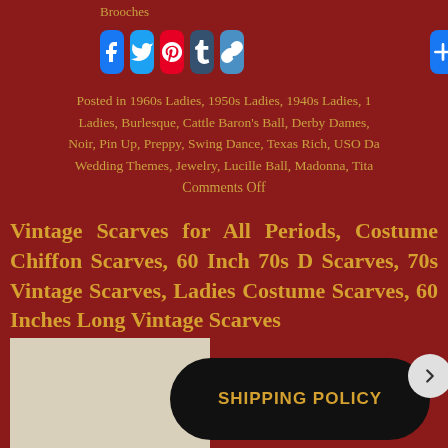Brooches
[Figure (screenshot): Social sharing buttons: Facebook, Twitter, Pinterest, Tumblr, Link/Copy, and a Plus (+) button on the right]
Posted in 1960s Ladies, 1950s Ladies, 1940s Ladies, 1 Ladies, Burlesque, Cattle Baron's Ball, Derby Dames, Noir, Pin Up, Preppy, Swing Dance, Texas Rich, USO Da Wedding Themes, Jewelry, Lucille Ball, Madonna, Tita
Comments Off
Vintage Scarves for All Periods, Costume Chiffon Scarves, 60 Inch 70s D Scarves, 70s Vintage Scarves, Ladies Costume Scarves, 60 Inches Long Vintage Scarves
[Figure (photo): Partial vintage scarf product photo, light beige/cream background]
SHIPPING POLICY